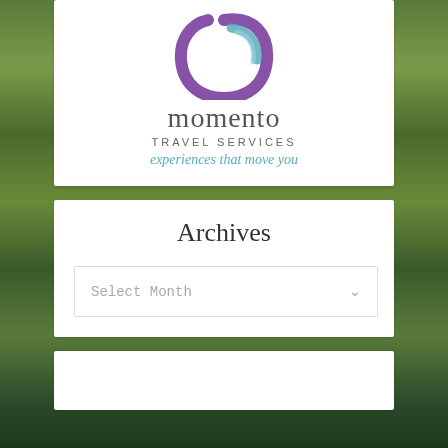[Figure (logo): Momento Travel Services logo: a purple and blue brushstroke circular symbol above the text 'momento TRAVEL SERVICES experiences that move you']
Archives
Select Month